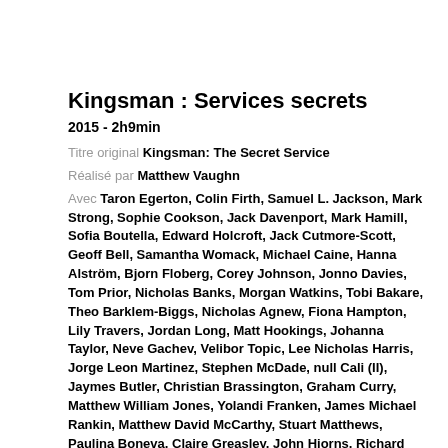Kingsman : Services secrets
2015 - 2h9min
Titre original Kingsman: The Secret Service
Réalisé par Matthew Vaughn
Avec Taron Egerton, Colin Firth, Samuel L. Jackson, Mark Strong, Sophie Cookson, Jack Davenport, Mark Hamill, Sofia Boutella, Edward Holcroft, Jack Cutmore-Scott, Geoff Bell, Samantha Womack, Michael Caine, Hanna Alström, Bjorn Floberg, Corey Johnson, Jonno Davies, Tom Prior, Nicholas Banks, Morgan Watkins, Tobi Bakare, Theo Barklem-Biggs, Nicholas Agnew, Fiona Hampton, Lily Travers, Jordan Long, Matt Hookings, Johanna Taylor, Neve Gachev, Velibor Topic, Lee Nicholas Harris, Jorge Leon Martinez, Stephen McDade, null Cali (II), Jaymes Butler, Christian Brassington, Graham Curry, Matthew William Jones, Yolandi Franken, James Michael Rankin, Matthew David McCarthy, Stuart Matthews, Paulina Boneva, Claire Greasley, John Hiorns, Richard Ochampaugh, Shawn Majeski, Allistair McNab, Joe Kennard,